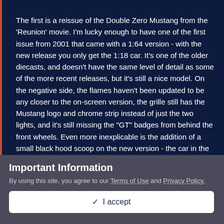The first is a reissue of the Double Zero Mustang from the 'Reunion' movie. I'm lucky enough to have one of the first issue from 2001 that came with a 1:64 version - with the new release you only get the 1:18 car. It's one of the older diecasts, and doesn't have the same level of detail as some of the more recent releases, but it's still a nice model. On the negative side, the flames haven't been updated to be any closer to the on-screen version, the grille still has the Mustang logo and chrome strip instead of just the two lights, and it's still missing the "GT" badges from behind the front wheels. Even more inexplicable is the addition of a small black hood scoop on the new version - the car in the movie never had one, and nor did the original diecast version, so I can't see why they added one now. Finally, the new packaging calls it "Cooter's Ford Mustang" - no idea where they got that from!
Important Information
By using this site, you agree to our Terms of Use and Privacy Policy.
✓ I accept